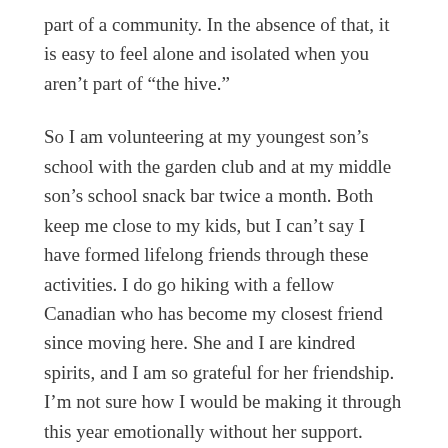part of a community. In the absence of that, it is easy to feel alone and isolated when you aren't part of "the hive."
So I am volunteering at my youngest son's school with the garden club and at my middle son's school snack bar twice a month. Both keep me close to my kids, but I can't say I have formed lifelong friends through these activities. I do go hiking with a fellow Canadian who has become my closest friend since moving here. She and I are kindred spirits, and I am so grateful for her friendship. I'm not sure how I would be making it through this year emotionally without her support. Unfortunately I already know that she is moving back to Canada after this school year, which means our time together is fleeting and as my husband says, I should really try and make more friends.
Back to that article I found online about homesickness–it appears everything that I am feeling is normal for someone